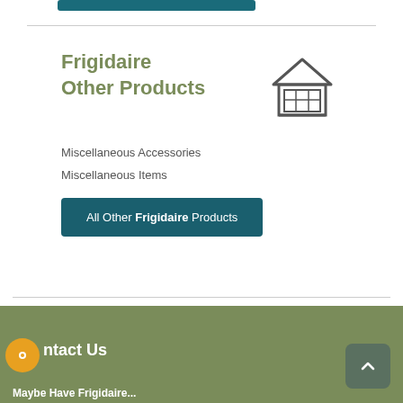Frigidaire Other Products
Miscellaneous Accessories
Miscellaneous Items
All Other Frigidaire Products
Contact Us
Maybe Have Frigidaire...